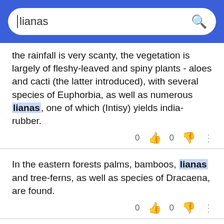lianas [search]
the rainfall is very scanty, the vegetation is largely of fleshy-leaved and spiny plants - aloes and cacti (the latter introduced), with several species of Euphorbia, as well as numerous lianas, one of which (Intisy) yields india-rubber.
In the eastern forests palms, bamboos, lianas and tree-ferns, as well as species of Dracaena, are found.
ADVERTISEMENT